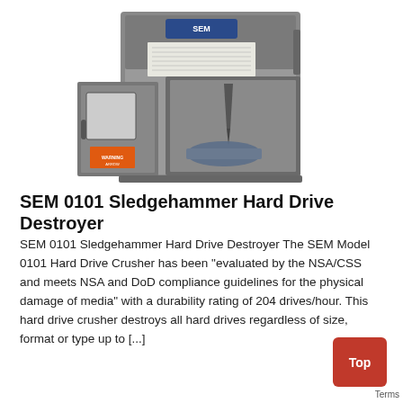[Figure (photo): Photo of the SEM 0101 Sledgehammer Hard Drive Destroyer machine — a grey boxy unit with an open front door revealing internal crushing mechanism with a pointed ram, and a warning label on the front door.]
SEM 0101 Sledgehammer Hard Drive Destroyer
SEM 0101 Sledgehammer Hard Drive Destroyer The SEM Model 0101 Hard Drive Crusher has been "evaluated by the NSA/CSS and meets NSA and DoD compliance guidelines for the physical damage of media" with a durability rating of 204 drives/hour. This hard drive crusher destroys all hard drives regardless of size, format or type up to [...]